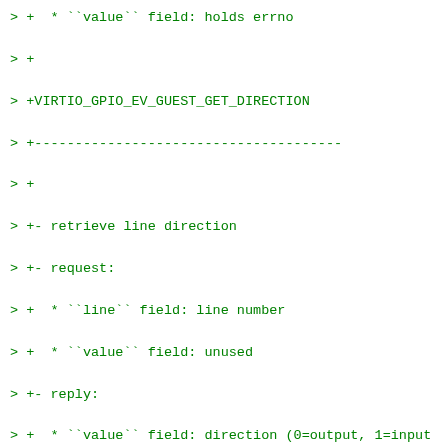> +  * ``value`` field: holds errno
> +
> +VIRTIO_GPIO_EV_GUEST_GET_DIRECTION
> +--------------------------------------
> +
> +- retrieve line direction
> +- request:
> +  * ``line`` field: line number
> +  * ``value`` field: unused
> +- reply:
> +  * ``value`` field: direction (0=output, 1=input
> +
> +VIRTIO_GPIO_EV_GUEST_GET_VALUE
> +--------------------------------
> +
> +- retrieve line state value